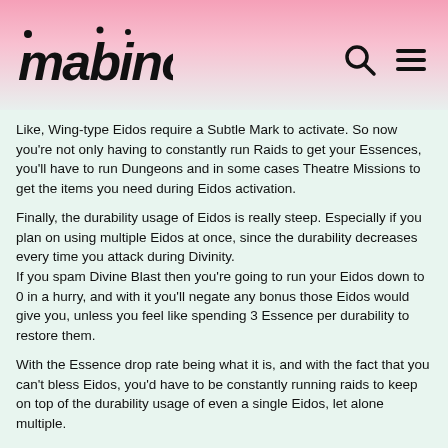mabinogi
Like, Wing-type Eidos require a Subtle Mark to activate. So now you're not only having to constantly run Raids to get your Essences, you'll have to run Dungeons and in some cases Theatre Missions to get the items you need during Eidos activation.
Finally, the durability usage of Eidos is really steep. Especially if you plan on using multiple Eidos at once, since the durability decreases every time you attack during Divinity.
If you spam Divine Blast then you're going to run your Eidos down to 0 in a hurry, and with it you'll negate any bonus those Eidos would give you, unless you feel like spending 3 Essence per durability to restore them.
With the Essence drop rate being what it is, and with the fact that you can't bless Eidos, you'd have to be constantly running raids to keep on top of the durability usage of even a single Eidos, let alone multiple.